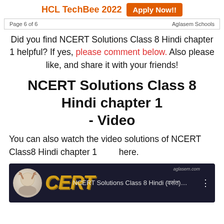HCL TechBee 2022   Apply Now!!
Page 6 of 6   Aglasem Schools
Did you find NCERT Solutions Class 8 Hindi chapter 1 helpful? If yes, please comment below. Also please like, and share it with your friends!
NCERT Solutions Class 8 Hindi chapter 1 - Video
You can also watch the video solutions of NCERT Class8 Hindi chapter 1         here.
[Figure (screenshot): Video thumbnail showing NCERT Solutions Class 8 Hindi (वसंत)... with CERT logo and dark background]